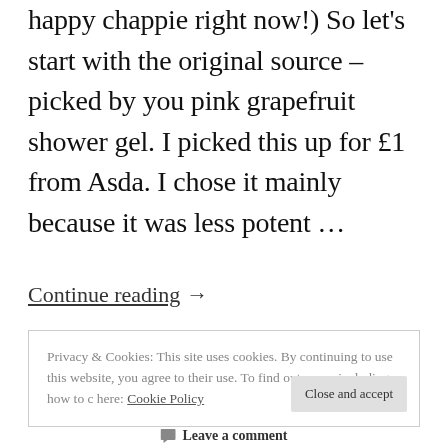happy chappie right now!) So let's start with the original source – picked by you pink grapefruit shower gel. I picked this up for £1 from Asda. I chose it mainly because it was less potent ...
Continue reading →
Privacy & Cookies: This site uses cookies. By continuing to use this website, you agree to their use. To find out more, including how to c here: Cookie Policy
Leave a comment